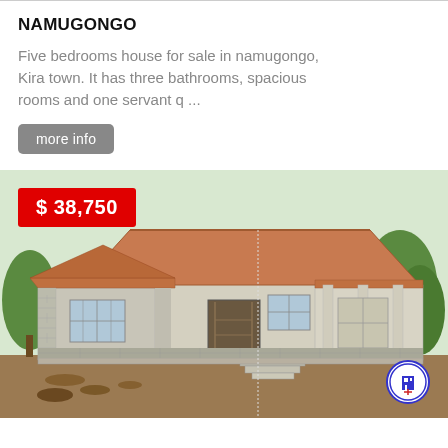NAMUGONGO
Five bedrooms house for sale in namugongo, Kira town. It has three bathrooms, spacious rooms and one servant q ...
more info
[Figure (photo): Exterior photo of a five-bedroom house under construction in Namugongo, Kira town. The house has a tiled hip roof, rendered walls, columns at the front porch, windows with grilles, and entry stairs. A red price badge shows $ 38,750 in the top-left corner. A real estate company logo (blue circular icon with a building) is in the bottom-right corner.]